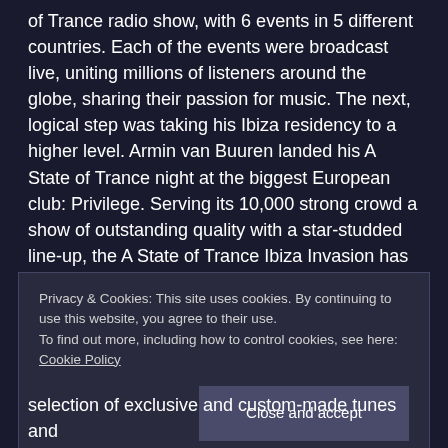the 350th episode and 11th birthday of the A State of Trance radio show, with 6 events in 5 different countries. Each of the events were broadcast live, uniting millions of listeners around the globe, sharing their passion for music. The next, logical step was taking his Ibiza residency to a higher level. Armin van Buuren landed his A State of Trance night at the biggest European club: Privilege. Serving its 10,000 strong crowd a show of outstanding quality with a star-studded line-up, the A State of Trance Ibiza Invasion has spread far beyond the regions of the Balearic sea.
Privacy & Cookies: This site uses cookies. By continuing to use this website, you agree to their use.
To find out more, including how to control cookies, see here: Cookie Policy
Close and accept
selection of exclusive and custom-made tunes and